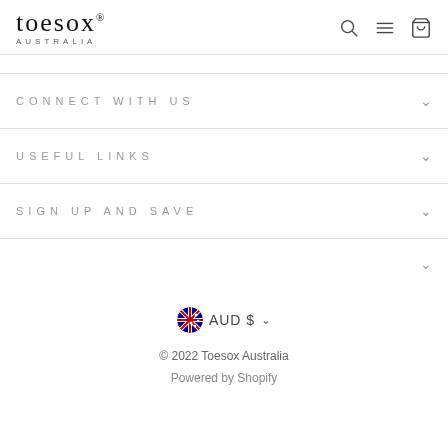toesox AUSTRALIA
CONNECT WITH US
USEFUL LINKS
SIGN UP AND SAVE
AUD $
© 2022 Toesox Australia
Powered by Shopify